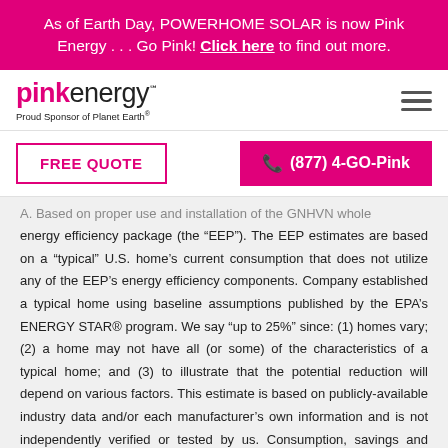As of Earth Day, POWERHOME SOLAR is now Pink Energy . . . Go Pink! Click here to find out more.
[Figure (logo): Pink Energy logo with text 'Proud Sponsor of Planet Earth']
FREE QUOTE
(877) 4-GO-Pink
A. Based on proper use and installation of the GNHVN whole energy efficiency package (the “EEP”). The EEP estimates are based on a “typical” U.S. home’s current consumption that does not utilize any of the EEP’s energy efficiency components. Company established a typical home using baseline assumptions published by the EPA’s ENERGY STAR® program. We say “up to 25%” since: (1) homes vary; (2) a home may not have all (or some) of the characteristics of a typical home; and (3) to illustrate that the potential reduction will depend on various factors. This estimate is based on publicly-available industry data and/or each manufacturer’s own information and is not independently verified or tested by us. Consumption, savings and results of the EEP will vary and are not guaranteed by us.